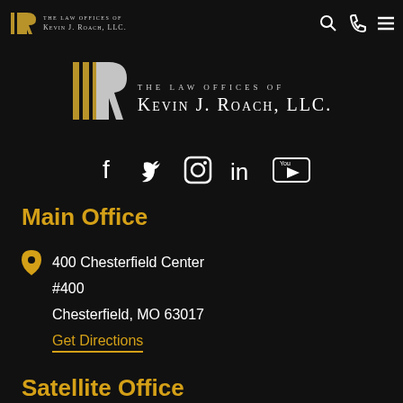The Law Offices of Kevin J. Roach, LLC.
[Figure (logo): The Law Offices of Kevin J. Roach, LLC. logo with stylized IR monogram in gold and white on dark background]
[Figure (infographic): Social media icons: Facebook, Twitter, Instagram, LinkedIn, YouTube]
Main Office
400 Chesterfield Center
#400
Chesterfield, MO  63017
Get Directions
Satellite Office